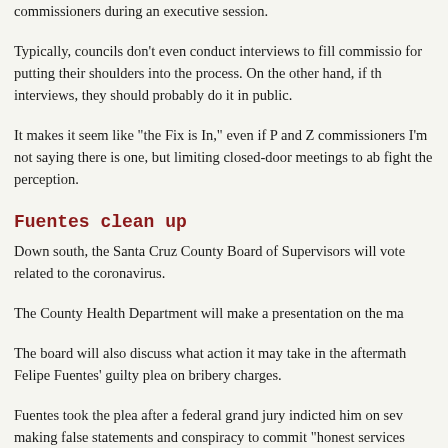commissioners during an executive session.
Typically, councils don't even conduct interviews to fill commissioners for putting their shoulders into the process. On the other hand, if they do interviews, they should probably do it in public.
It makes it seem like "the Fix is In," even if P and Z commissioners I'm not saying there is one, but limiting closed-door meetings to ab fight the perception.
Fuentes clean up
Down south, the Santa Cruz County Board of Supervisors will vote related to the coronavirus.
The County Health Department will make a presentation on the ma
The board will also discuss what action it may take in the aftermath Felipe Fuentes' guilty plea on bribery charges.
Fuentes took the plea after a federal grand jury indicted him on sev making false statements and conspiracy to commit "honest services